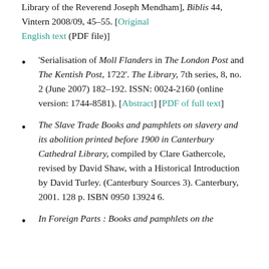Library of the Reverend Joseph Mendham], Biblis 44, Vintern 2008/09, 45–55. [Original English text (PDF file)]
'Serialisation of Moll Flanders in The London Post and The Kentish Post, 1722'. The Library, 7th series, 8, no. 2 (June 2007) 182–192. ISSN: 0024-2160 (online version: 1744-8581). [Abstract] [PDF of full text]
The Slave Trade Books and pamphlets on slavery and its abolition printed before 1900 in Canterbury Cathedral Library, compiled by Clare Gathercole, revised by David Shaw, with a Historical Introduction by David Turley. (Canterbury Sources 3). Canterbury, 2001. 128 p. ISBN 0950 13924 6.
In Foreign Parts : Books and pamphlets on the